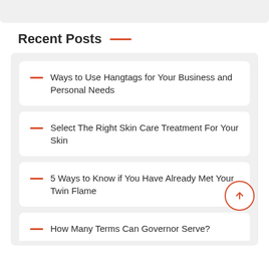Recent Posts
Ways to Use Hangtags for Your Business and Personal Needs
Select The Right Skin Care Treatment For Your Skin
5 Ways to Know if You Have Already Met Your Twin Flame
How Many Terms Can Governor Serve?